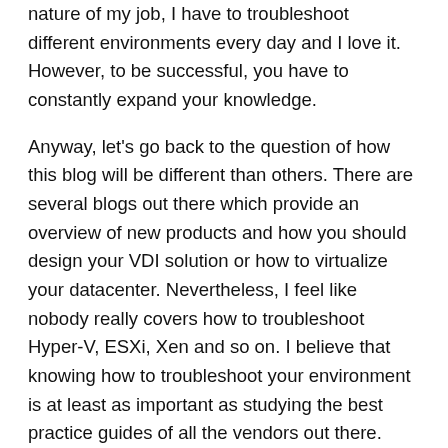nature of my job, I have to troubleshoot different environments every day and I love it. However, to be successful, you have to constantly expand your knowledge.
Anyway, let's go back to the question of how this blog will be different than others. There are several blogs out there which provide an overview of new products and how you should design your VDI solution or how to virtualize your datacenter. Nevertheless, I feel like nobody really covers how to troubleshoot Hyper-V, ESXi, Xen and so on. I believe that knowing how to troubleshoot your environment is at least as important as studying the best practice guides of all the vendors out there. Unless, of course you like to spend hours working with your vendor's  technical support center. 🙂